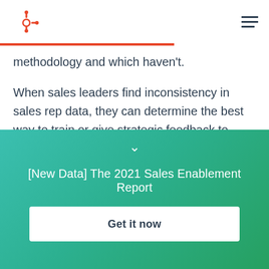HubSpot
methodology and which haven't.
When sales leaders find inconsistency in sales rep data, they can determine the best way to train or give strategic feedback to team members to ensure that they're using effective tactics.
"We're really good at strategizing and moving jobs forward for our team,' Husmann says. "I think having
[New Data] The 2021 Sales Enablement Report
Get it now